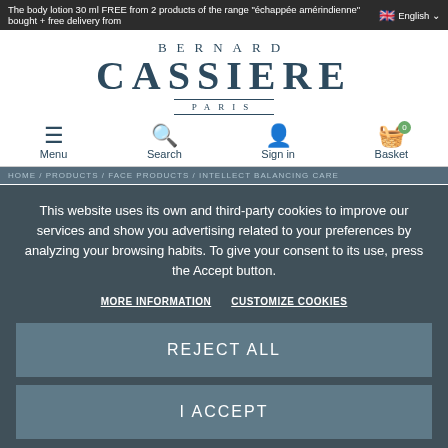The body lotion 30 ml FREE from 2 products of the range "échappée amérindienne" bought + free delivery from … English
[Figure (logo): Bernard Cassiere Paris logo in dark teal/navy serif lettering]
[Figure (infographic): Navigation bar with Menu, Search, Sign in, Basket (0) icons]
HOME / PRODUCTS / FACE PRODUCTS / INTELLECT BALANCING CARE
This website uses its own and third-party cookies to improve our services and show you advertising related to your preferences by analyzing your browsing habits. To give your consent to its use, press the Accept button.
MORE INFORMATION   CUSTOMIZE COOKIES
REJECT ALL
I ACCEPT